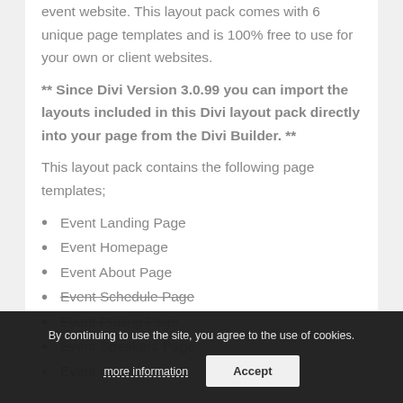event website. This layout pack comes with 6 unique page templates and is 100% free to use for your own or client websites.
** Since Divi Version 3.0.99 you can import the layouts included in this Divi layout pack directly into your page from the Divi Builder. **
This layout pack contains the following page templates;
Event Landing Page
Event Homepage
Event About Page
Event Schedule Page
Event Pricing Page
Event Speakers Page
Event Contact Page
By continuing to use the site, you agree to the use of cookies. more information | Accept